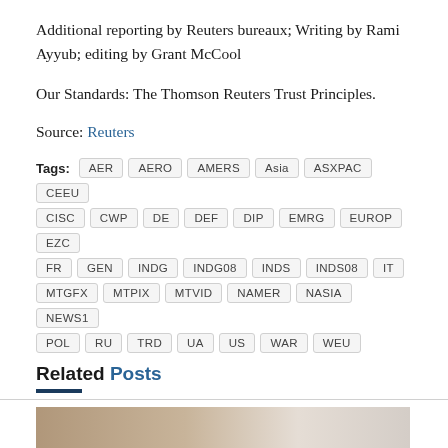Additional reporting by Reuters bureaux; Writing by Rami Ayyub; editing by Grant McCool
Our Standards: The Thomson Reuters Trust Principles.
Source: Reuters
Tags: AER AERO AMERS Asia ASXPAC CEEU CISC CWP DE DEF DIP EMRG EUROP EZC FR GEN INDG INDG08 INDS INDS08 IT MTGFX MTPIX MTVID NAMER NASIA NEWS1 POL RU TRD UA US WAR WEU
Related Posts
[Figure (photo): A blurred photograph shown partially at the bottom of the page]